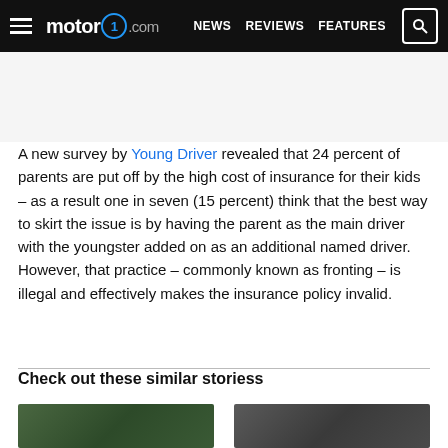motor1.com — NEWS  REVIEWS  FEATURES
A new survey by Young Driver revealed that 24 percent of parents are put off by the high cost of insurance for their kids – as a result one in seven (15 percent) think that the best way to skirt the issue is by having the parent as the main driver with the youngster added on as an additional named driver. However, that practice – commonly known as fronting – is illegal and effectively makes the insurance policy invalid.
Check out these similar storiess
[Figure (photo): Thumbnail image on the left, greenish/nature background]
[Figure (photo): Thumbnail image on the right, dark background]